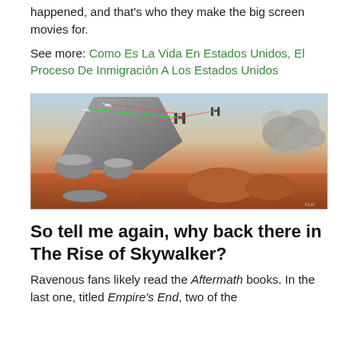happened, and that's who they make the big screen movies for.
See more: Como Es La Vida En Estados Unidos, El Proceso De Inmigración A Los Estados Unidos
[Figure (illustration): A Star Wars battle scene showing a crashed or damaged Imperial Star Destroyer on a desert planet (Jakku), with X-wing fighters and TIE fighters engaged in combat, laser beams visible, smoke and dust in the background, orange-red sandy terrain in the foreground with debris.]
So tell me again, why back there in The Rise of Skywalker?
Ravenous fans likely read the Aftermath books. In the last one, titled Empire's End, two of the